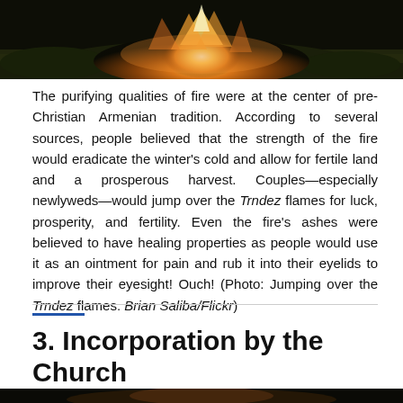[Figure (photo): A bonfire with orange and yellow flames against a dark background with greenery, partially cropped at top of page.]
The purifying qualities of fire were at the center of pre-Christian Armenian tradition. According to several sources, people believed that the strength of the fire would eradicate the winter's cold and allow for fertile land and a prosperous harvest. Couples—especially newlyweds—would jump over the Trndez flames for luck, prosperity, and fertility. Even the fire's ashes were believed to have healing properties as people would use it as an ointment for pain and rub it into their eyelids to improve their eyesight! Ouch! (Photo: Jumping over the Trndez flames. Brian Saliba/Flickr)
3. Incorporation by the Church
[Figure (photo): A nighttime fire scene with sparks and orange flames, partially visible at bottom of page.]